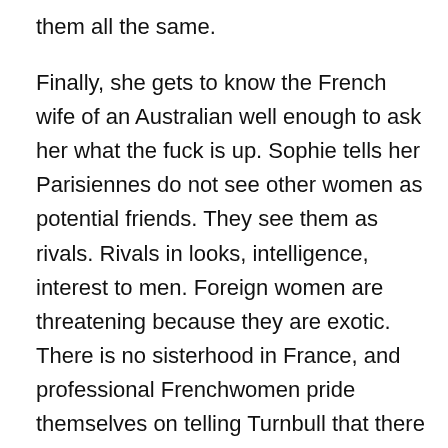them all the same.
Finally, she gets to know the French wife of an Australian well enough to ask her what the fuck is up. Sophie tells her Parisiennes do not see other women as potential friends. They see them as rivals. Rivals in looks, intelligence, interest to men. Foreign women are threatening because they are exotic. There is no sisterhood in France, and professional Frenchwomen pride themselves on telling Turnbull that there is no Anglo-Saxon feminism in France. And moreover, “Your Anglo-Saxon style feminism doesn’t belong here.” This is the late 1990s we’re talking.
Turnbull reveals herself as a radical ditto, by the way, by drinking more than a half a glass of champagne at a dinner party. And having beer as an aperitif.